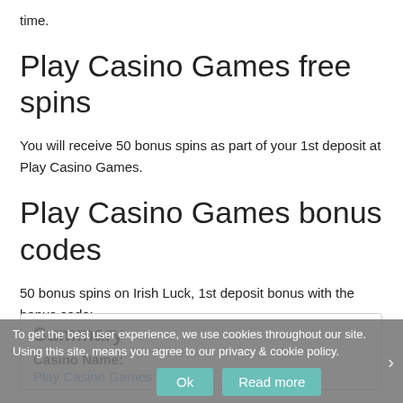time.
Play Casino Games free spins
You will receive 50 bonus spins as part of your 1st deposit at Play Casino Games.
Play Casino Games bonus codes
50 bonus spins on Irish Luck, 1st deposit bonus with the bonus code: -.
Read more about bonus codes from Play Casino Games.
Summary
Casino Name:
Play Casino Games
To get the best user experience, we use cookies throughout our site. Using this site, means you agree to our privacy & cookie policy.